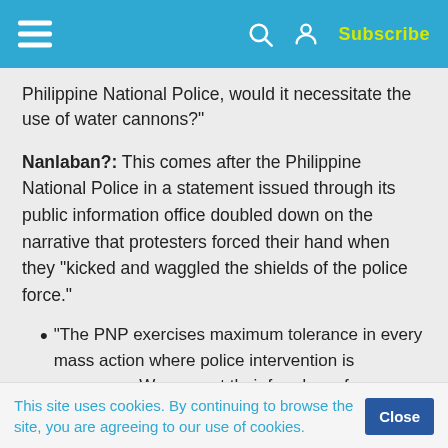Subscribe
Philippine National Police, would it necessitate the use of water cannons?"
Nanlaban?: This comes after the Philippine National Police in a statement issued through its public information office doubled down on the narrative that protesters forced their hand when they "kicked and waggled the shields of the police force."
"The PNP exercises maximum tolerance in every mass action where police intervention is necessary. We respect their freedom of expression but they went overboard." Police
This site uses cookies. By continuing to browse the site, you are agreeing to our use of cookies.